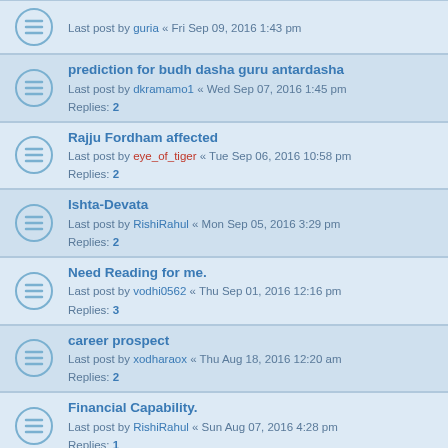Last post by guria « Fri Sep 09, 2016 1:43 pm
prediction for budh dasha guru antardasha
Last post by dkramamo1 « Wed Sep 07, 2016 1:45 pm
Replies: 2
Rajju Fordham affected
Last post by eye_of_tiger « Tue Sep 06, 2016 10:58 pm
Replies: 2
Ishta-Devata
Last post by RishiRahul « Mon Sep 05, 2016 3:29 pm
Replies: 2
Need Reading for me.
Last post by vodhi0562 « Thu Sep 01, 2016 12:16 pm
Replies: 3
career prospect
Last post by xodharaox « Thu Aug 18, 2016 12:20 am
Replies: 2
Financial Capability.
Last post by RishiRahul « Sun Aug 07, 2016 4:28 pm
Replies: 1
Marriage - when will happen?
Last post by RishiRahul « Thu Aug 04, 2016 12:51 am
Replies: 2
Proper Job - will I get and keep soon?
Last post by abogi77 « Fri Jul 22, 2016 1:36 pm
Life in a foreign land
Last post by Zaina « Wed Jul 20, 2016 7:54 pm
Replies: 7
Chart analysis SK